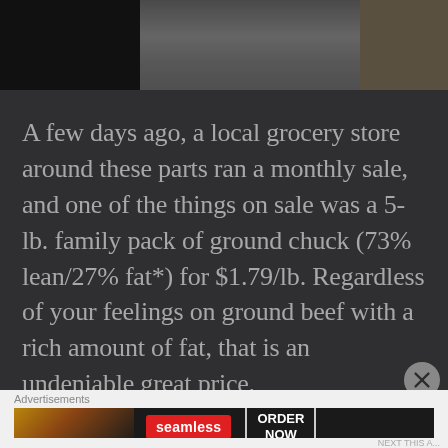[Figure (photo): Top portion showing a photo strip: dark/black area on left, a smoky outdoor scene in the center, and an outdoor/ground scene on the right.]
A few days ago, a local grocery store around these parts ran a monthly sale, and one of the things on sale was a 5-lb. family pack of ground chuck (73% lean/27% fat*) for $1.79/lb. Regardless of your feelings on ground beef with a rich amount of fat, that is an undeniable great price.
Advertisements
[Figure (screenshot): Seamless food delivery advertisement banner showing pizza image on left, Seamless red logo in center, and ORDER NOW button on right.]